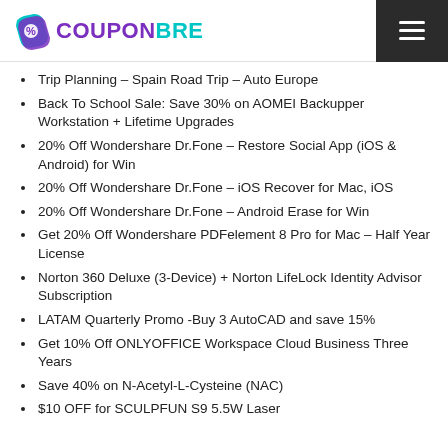COUPONBRE
Trip Planning – Spain Road Trip – Auto Europe
Back To School Sale: Save 30% on AOMEI Backupper Workstation + Lifetime Upgrades
20% Off Wondershare Dr.Fone – Restore Social App (iOS & Android) for Win
20% Off Wondershare Dr.Fone – iOS Recover for Mac, iOS
20% Off Wondershare Dr.Fone – Android Erase for Win
Get 20% Off Wondershare PDFelement 8 Pro for Mac – Half Year License
Norton 360 Deluxe (3-Device) + Norton LifeLock Identity Advisor Subscription
LATAM Quarterly Promo -Buy 3 AutoCAD and save 15%
Get 10% Off ONLYOFFICE Workspace Cloud Business Three Years
Save 40% on N-Acetyl-L-Cysteine (NAC)
$10 OFF for SCULPFUN S9 5.5W Laser